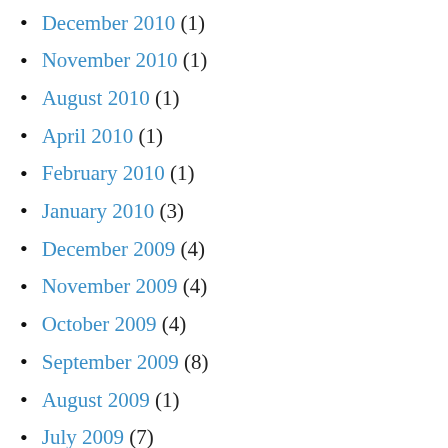December 2010 (1)
November 2010 (1)
August 2010 (1)
April 2010 (1)
February 2010 (1)
January 2010 (3)
December 2009 (4)
November 2009 (4)
October 2009 (4)
September 2009 (8)
August 2009 (1)
July 2009 (7)
June 2009 (1)
May 2009 (4)
April 2009 (4)
March 2009 (6)